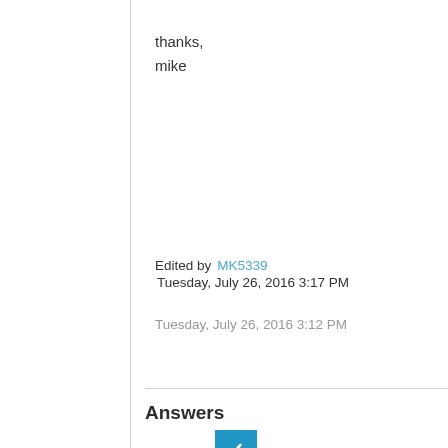thanks,
mike
Edited by MK5339
Tuesday, July 26, 2016 3:17 PM
Tuesday, July 26, 2016 3:12 PM
Answers
[Figure (other): Blue checkbox with white checkmark]